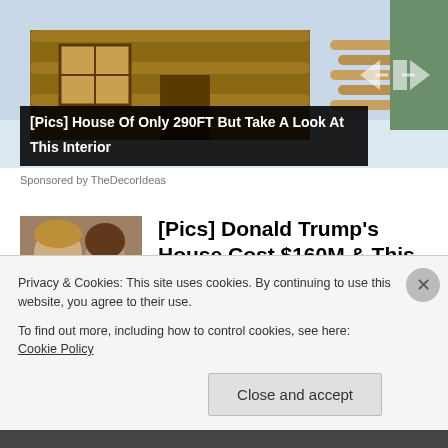[Figure (photo): Log cabin house under construction with stacked timber logs, outdoor setting]
[Pics] House Of Only 290FT But Take A Look At This Interior
Sponsored by TheDecorIdeas
[Figure (photo): Photo of Donald Trump and Melania Trump at a formal event]
[Pics] Donald Trump's House Cost $160M & This Is What It Looks Like Inside
BuzzAura
Privacy & Cookies: This site uses cookies. By continuing to use this website, you agree to their use.
To find out more, including how to control cookies, see here: Cookie Policy
Close and accept